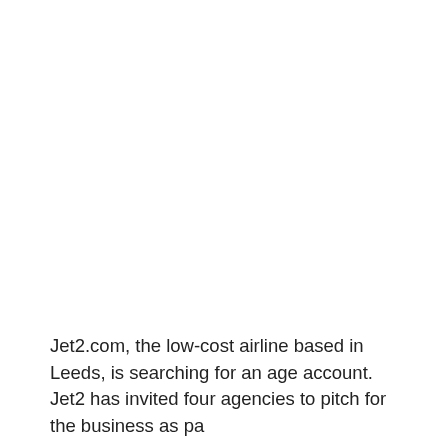Jet2.com, the low-cost airline based in Leeds, is searching for an age account. Jet2 has invited four agencies to pitch for the business as pa